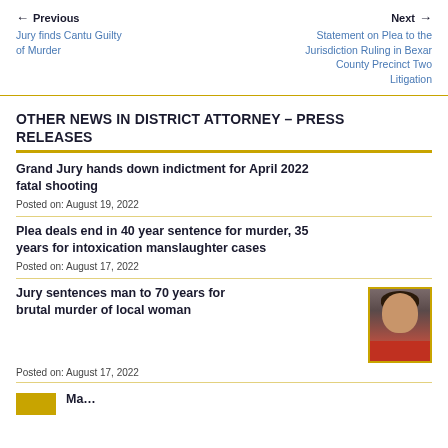← Previous | Next →
Jury finds Cantu Guilty of Murder | Statement on Plea to the Jurisdiction Ruling in Bexar County Precinct Two Litigation
OTHER NEWS IN DISTRICT ATTORNEY – PRESS RELEASES
Grand Jury hands down indictment for April 2022 fatal shooting
Posted on: August 19, 2022
Plea deals end in 40 year sentence for murder, 35 years for intoxication manslaughter cases
Posted on: August 17, 2022
Jury sentences man to 70 years for brutal murder of local woman
Posted on: August 17, 2022
[Figure (photo): Mugshot of a man in a red shirt with dark hair]